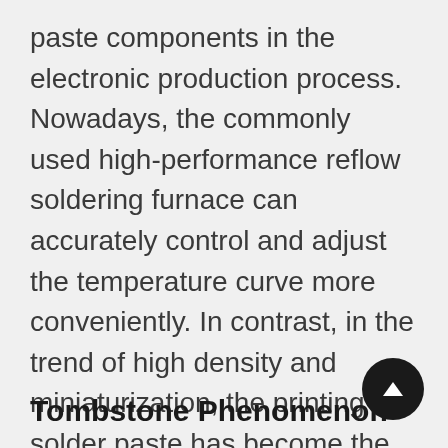paste components in the electronic production process. Nowadays, the commonly used high-performance reflow soldering furnace can accurately control and adjust the temperature curve more conveniently. In contrast, in the trend of high density and miniaturization, the printing of solder paste has become the key to the quality of reflow soldering. The three factors of paste, stencil and printing can affect the quality of solder paste printing.
Tombstone Phenomenon